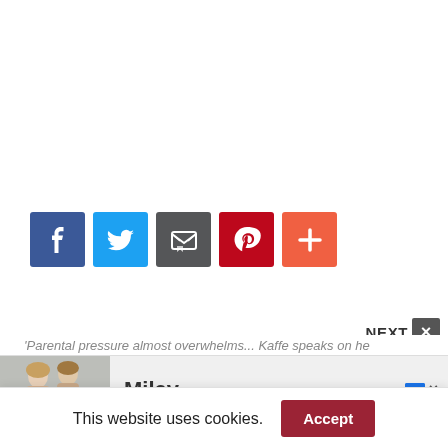[Figure (other): Social share buttons row: Facebook (blue), Twitter (light blue), Email (dark grey), Pinterest (red), More/plus (orange-red)]
NEXT ×
'Parental pressure almost overwhelms... Kaffe speaks on he...
[Figure (photo): Advertisement banner showing two women and the text 'Miley' with AdChoices icon and close button]
This website uses cookies.
Accept